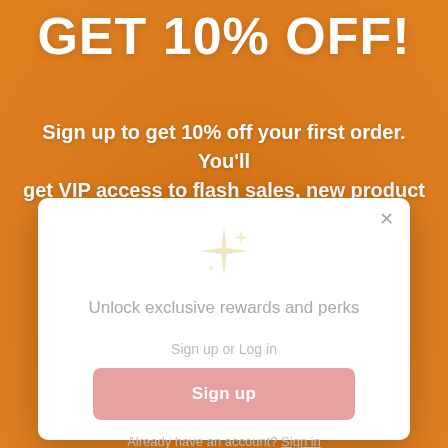GET 10% OFF!
Sign up to get 10% off your first order. You'll get VIP access to flash sales, new product
[Figure (screenshot): A loyalty/rewards modal popup with sparkle icon, showing 'Unlock exclusive rewards and perks', 'Sign up or Log in' text, a pink 'Sign up' button, and 'Already have an account? Sign in' link. A close (x) button is in the top right corner.]